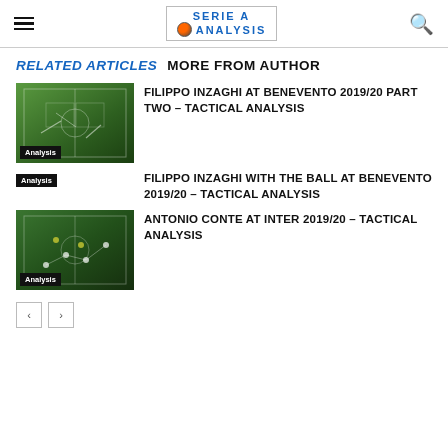SERIE A ANALYSIS
RELATED ARTICLES   MORE FROM AUTHOR
[Figure (photo): Tactical football field screenshot with Analysis badge]
FILIPPO INZAGHI AT BENEVENTO 2019/20 PART TWO – TACTICAL ANALYSIS
Analysis
FILIPPO INZAGHI WITH THE BALL AT BENEVENTO 2019/20 – TACTICAL ANALYSIS
[Figure (photo): Tactical football field screenshot with Analysis badge]
ANTONIO CONTE AT INTER 2019/20 – TACTICAL ANALYSIS